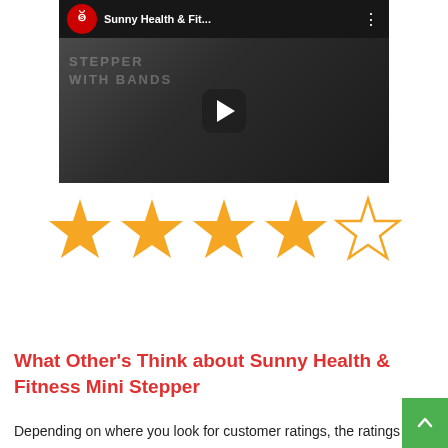[Figure (screenshot): YouTube video thumbnail for Sunny Health & Fitness showing a stepper with resistance bands. Includes channel logo, video title, and play button overlay.]
[Figure (other): 4 out of 5 stars rating displayed as large gold star icons, with the 5th star shown as an outline.]
What Other’s Think about Sunny Health & Fitness Mini Stepper
Depending on where you look for customer ratings, the ratings seem to fall between 4 and 4 1/2 stars, which is pretty good. From